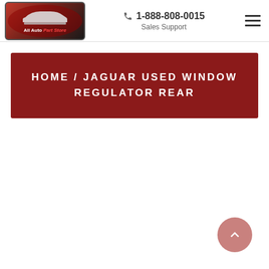[Figure (logo): All Auto Part Store logo — oval badge with red/dark background, silhouette of a car, white text 'All Auto' and red italic 'Part Store']
1-888-808-0015
Sales Support
[Figure (other): Hamburger menu icon — three horizontal lines]
Home / Jaguar Used Window Regulator Rear